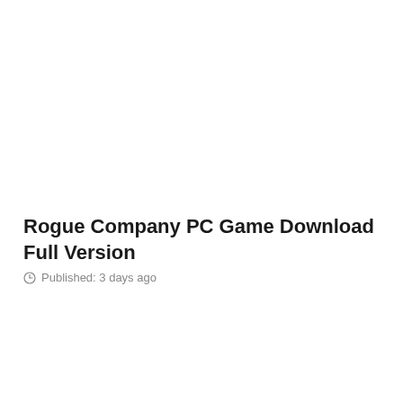Rogue Company PC Game Download Full Version
Published: 3 days ago